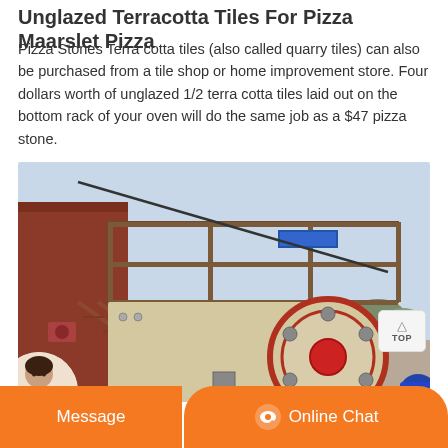Unglazed Terracotta Tiles For Pizza Maarslet Pizza
Pizza Stones Terra cotta tiles (also called quarry tiles) can also be purchased from a tile shop or home improvement store. Four dollars worth of unglazed 1/2 terra cotta tiles laid out on the bottom rack of your oven will do the same job as a $47 pizza stone.
[Figure (photo): Industrial heavy machinery (appears to be a jaw crusher or similar mining/quarrying equipment) with a large flywheel, metal walkway/staircase structure, set outdoors against a light sky background.]
Message | Online Chat